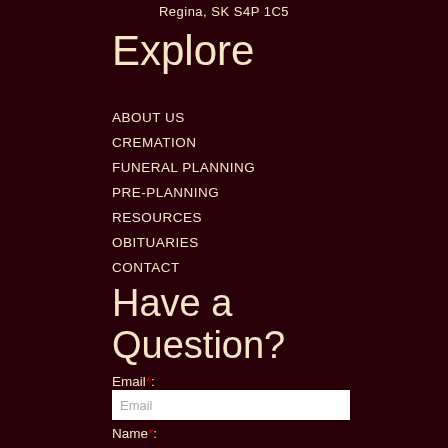Regina, SK S4P 1C5
Explore
ABOUT US
CREMATION
FUNERAL PLANNING
PRE-PLANNING
RESOURCES
OBITUARIES
CONTACT
Have a Question?
Email*:
Name*: